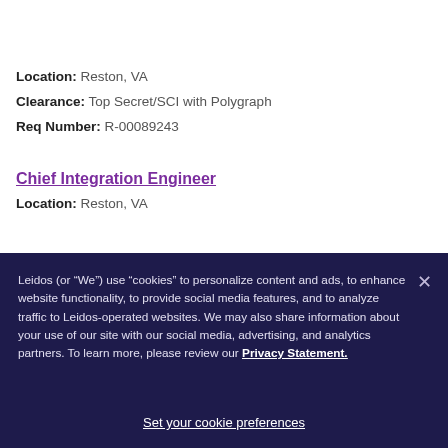[Figure (logo): Leidos company logo with purple triangle/arrow shape and 'leidos' wordmark in dark navy]
Location: Reston, VA
Clearance: Top Secret/SCI with Polygraph
Req Number: R-00089243
Chief Integration Engineer
Location: Reston, VA
Leidos (or “We”) use “cookies” to personalize content and ads, to enhance website functionality, to provide social media features, and to analyze traffic to Leidos-operated websites. We may also share information about your use of our site with our social media, advertising, and analytics partners. To learn more, please review our Privacy Statement.
Set your cookie preferences